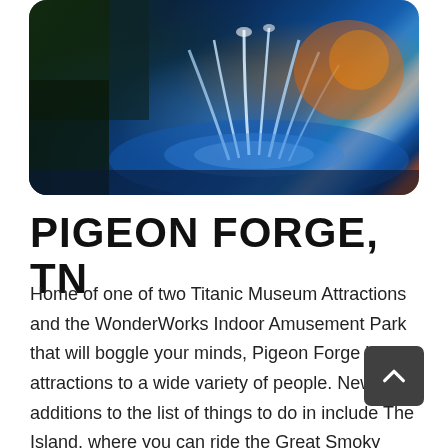[Figure (photo): Night photo of illuminated fountain with blue and orange lights, trees in background]
PIGEON FORGE, TN
Home of one of two Titanic Museum Attractions and the WonderWorks Indoor Amusement Park that will boggle your minds, Pigeon Forge has attractions to a wide variety of people. New additions to the list of things to do in include The Island, where you can ride the Great Smoky Mountain Wheel or complete The Island Ropes Course. Don't forget to squeeze in a ride on the Smoky Mountain Alpine Coaster as well as check out the beautiful hiking trails in the quiet corners of the